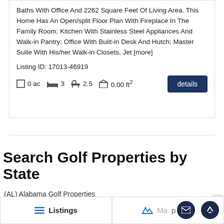Baths With Office And 2262 Square Feet Of Living Area. This Home Has An Open/split Floor Plan With Fireplace In The Family Room; Kitchen With Stainless Steel Appliances And Walk-in Pantry; Office With Built-in Desk And Hutch; Master Suite With His/her Walk-in Closets, Jet [more]
Listing ID: 17013-46919
0 ac   3   2.5   0.00 ft²   details
Search Golf Properties by State
(AL) Alabama Golf Properties
(AZ) ...